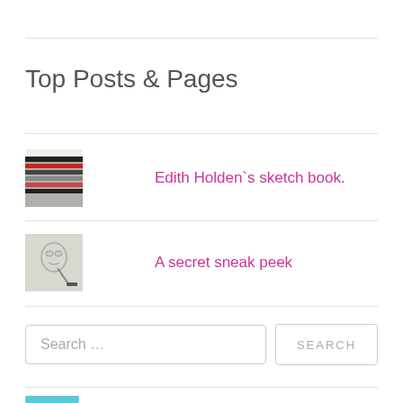Top Posts & Pages
Edith Holden`s sketch book.
A secret sneak peek
Search …
SEARCH